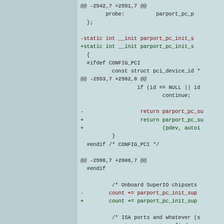[Figure (screenshot): A code diff view showing changes to Linux kernel parport_pc driver source files. The diff includes hunks at lines -2542,7 +2551,7 and -2553,7 +2562,8 and -2596,7 +2606,7 showing modifications to parport_pc_init_s function and related code including CONFIG_PCI sections and SuperIO chipset initialization.]